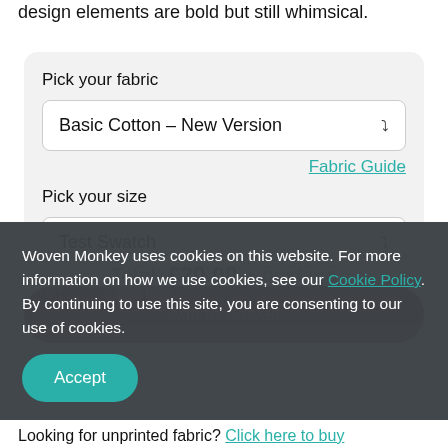...whimsical shapes. A bright and strong colourway, the design elements are bold but still whimsical.
Pick your fabric
Basic Cotton – New Version
Fabric Guide
Pick your size
Test Swatch
Quantity 1
Total: £20.00 + postage
Add to Basket
Woven Monkey uses cookies on this website. For more information on how we use cookies, see our Cookie Policy. By continuing to use this site, you are consenting to our use of cookies.
Accept
Looking for unprinted fabric? Click here to buy